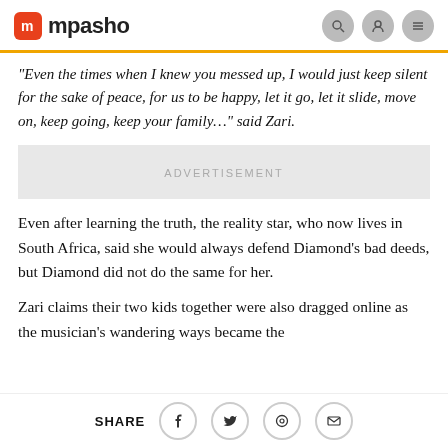mpasho
“Even the times when I knew you messed up, I would just keep silent for the sake of peace, for us to be happy, let it go, let it slide, move on, keep going, keep your family…” said Zari.
[Figure (other): Advertisement placeholder box]
Even after learning the truth, the reality star, who now lives in South Africa, said she would always defend Diamond's bad deeds, but Diamond did not do the same for her.
Zari claims their two kids together were also dragged online as the musician's wandering ways became the
SHARE